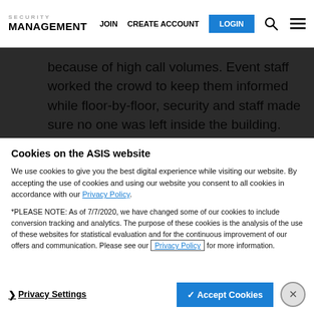SECURITY MANAGEMENT | JOIN | CREATE ACCOUNT | LOGIN
because of high call volumes. Event staff worked the crowd to keep them informed while floor-by-floor, security and staff made sure no one was left inside the building.
Cookies on the ASIS website
We use cookies to give you the best digital experience while visiting our website. By accepting the use of cookies and using our website you consent to all cookies in accordance with our Privacy Policy.
*PLEASE NOTE: As of 7/7/2020, we have changed some of our cookies to include conversion tracking and analytics. The purpose of these cookies is the analysis of the use of these websites for statistical evaluation and for the continuous improvement of our offers and communication. Please see our Privacy Policy for more information.
Privacy Settings   ✓ Accept Cookies   ✕